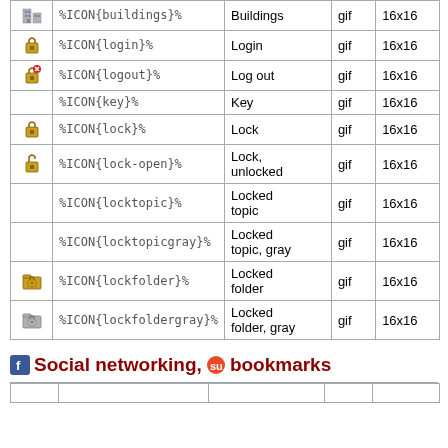|  | Code | Name | Type | Size |
| --- | --- | --- | --- | --- |
| [buildings icon] | %ICON{buildings}% | Buildings | gif | 16x16 |
| [login icon] | %ICON{login}% | Login | gif | 16x16 |
| [logout icon] | %ICON{logout}% | Log out | gif | 16x16 |
|  | %ICON{key}% | Key | gif | 16x16 |
| [lock icon] | %ICON{lock}% | Lock | gif | 16x16 |
| [lock-open icon] | %ICON{lock-open}% | Lock, unlocked | gif | 16x16 |
|  | %ICON{locktopic}% | Locked topic | gif | 16x16 |
|  | %ICON{locktopicgray}% | Locked topic, gray | gif | 16x16 |
| [lockfolder icon] | %ICON{lockfolder}% | Locked folder | gif | 16x16 |
| [lockfoldergray icon] | %ICON{lockfoldergray}% | Locked folder, gray | gif | 16x16 |
Social networking, bookmarks